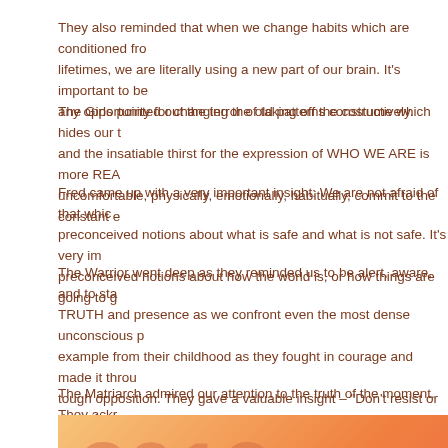They also reminded that when we change habits which are conditioned from lifetimes, we are literally using a new part of our brain. It's important to be any opportunity for changing the old patterns constructively.
The Girls pointed out the terror of taking off the costume which hides our t and the insatiable thirst for the expression of WHO WE ARE is more REA uncomfortable, physically, emotionally, habitually, commit to the constant e
Fred came up with a very important insight: We are not afraid of that which preconceived notions about what is safe and what is not safe. It's very imp preconceived notions about how the world is, or how things are going to g
The Warrior went deep as they reminded us to be alert, aware, and to star TRUTH and presence as we confront even the most dense unconscious p example from their childhood as they fought in courage and made it throug tough opposition. They gave a valuable insight – “Don’t resist or deny the your advantage.”
The Matriarch admired our attention to the truth of the moment. They ackn be in our truth feels very expanded.
[Figure (illustration): Orange-red gradient background image with large semi-transparent text '2012']